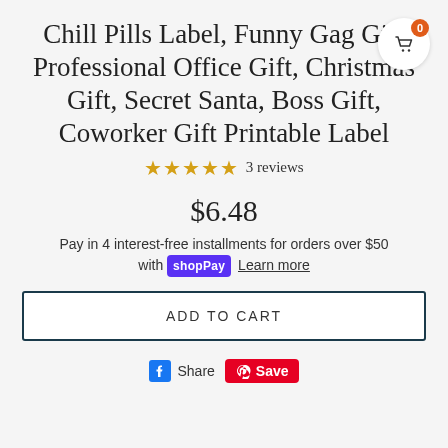Chill Pills Label, Funny Gag Gift Professional Office Gift, Christmas Gift, Secret Santa, Boss Gift, Coworker Gift Printable Label
★★★★★ 3 reviews
$6.48
Pay in 4 interest-free installments for orders over $50 with shopPay Learn more
ADD TO CART
Share  Save